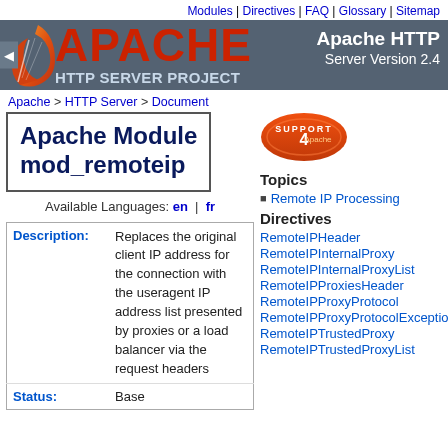Modules | Directives | FAQ | Glossary | Sitemap
[Figure (logo): Apache HTTP Server Project logo banner with feather, red APACHE text, and subtitle 'Apache HTTP Server Version 2.4']
Apache > HTTP Server > Document
Apache Module mod_remoteip
Available Languages: en | fr
| Field | Value |
| --- | --- |
| Description: | Replaces the original client IP address for the connection with the useragent IP address list presented by proxies or a load balancer via the request headers |
| Status: | Base |
[Figure (illustration): Apache support badge - orange and red circular badge with 'SUPPORT' text]
Topics
Remote IP Processing
Directives
RemoteIPHeader
RemoteIPInternalProxy
RemoteIPInternalProxyList
RemoteIPProxiesHeader
RemoteIPProxyProtocol
RemoteIPProxyProtocolExceptions
RemoteIPTrustedProxy
RemoteIPTrustedProxyList